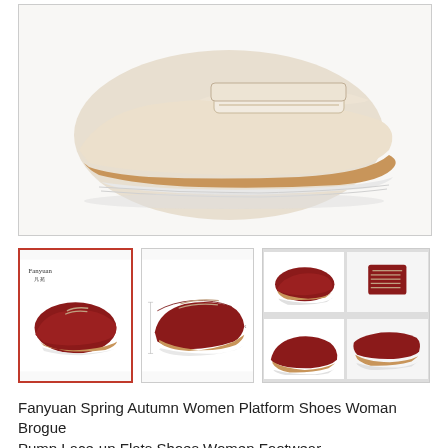[Figure (photo): Large main product photo of a beige/cream colored platform brogue shoe with tan wedge sole and white platform bottom, lace-up style, viewed from the side against white background]
[Figure (photo): Thumbnail 1 (selected, red border): Dark red/wine colored platform brogue shoe on white background with Fanyuan brand logo in top left]
[Figure (photo): Thumbnail 2: Side view of dark red platform brogue shoe showing wedge heel height measurements]
[Figure (photo): Thumbnail 3: Four-panel collage showing dark red platform brogue shoe details - front view, lace closeup, side profile, and wedge sole detail]
Fanyuan Spring Autumn Women Platform Shoes Woman Brogue Pump Lace-up Flats Shoes Women Footwear